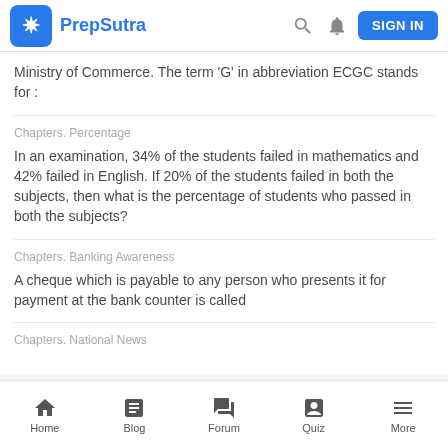PrepSutra
Ministry of Commerce. The term 'G' in abbreviation ECGC stands for :
Chapters. Percentage
In an examination, 34% of the students failed in mathematics and 42% failed in English. If 20% of the students failed in both the subjects, then what is the percentage of students who passed in both the subjects?
Chapters. Banking Awareness
A cheque which is payable to any person who presents it for payment at the bank counter is called
Chapters. National News
Home  Blog  Forum  Quiz  More